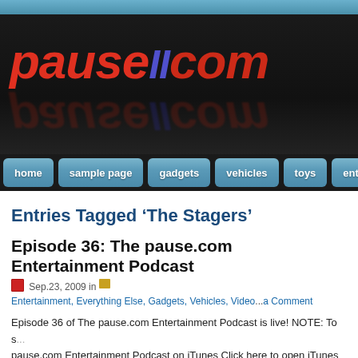[Figure (logo): pause.com website logo on dark background with blue and red stylized text, with reflection below]
home | sample page | gadgets | vehicles | toys | ente...
Entries Tagged ‘The Stagers’
Episode 36: The pause.com Entertainment Podcast
Sep.23, 2009 in Entertainment, Everything Else, Gadgets, Vehicles, Video... a Comment
Episode 36 of The pause.com Entertainment Podcast is live! NOTE: To s... pause.com Entertainment Podcast on iTunes Click here to open iTunes t... then click the SUBSCRIBE button. In this episode: In Video Games, Lou... Batman: Arkham Asylum and World of Warcraft. Tony talks about Shadow... miscellaneous video game [...]